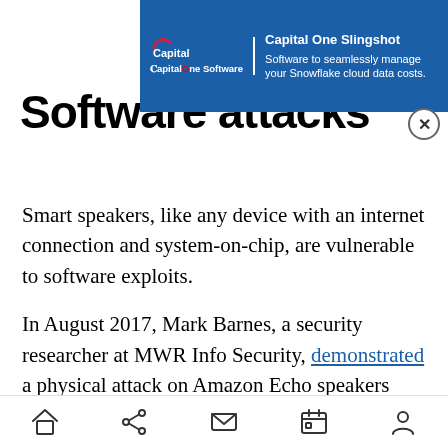[Figure (screenshot): Capital One Slingshot advertisement banner with blue background, Capital One Software logo on left, and text: 'Capital One Slingshot - Software to seamlessly manage your Snowflake cloud data costs.']
Software attacks
Smart speakers, like any device with an internet connection and system-on-chip, are vulnerable to software exploits.
In August 2017, Mark Barnes, a security researcher at MWR Info Security, demonstrated a physical attack on Amazon Echo speakers (which run a variant of Linux) that could allow hackers to gain access to the root shell (i.e., the administrative command line) of the underlying operating system. Once the malware is in place, it could grant attackers remote access to the speaker, allowing
[Figure (screenshot): Mobile browser navigation bar with home, share, mail, calendar, and person icons]